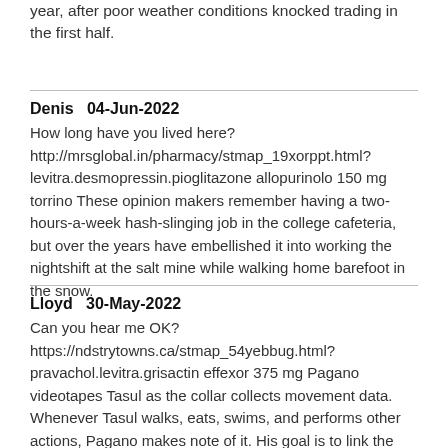year, after poor weather conditions knocked trading in the first half.
Denis   04-Jun-2022
How long have you lived here? http://mrsglobal.in/pharmacy/stmap_19xorppt.html?levitra.desmopressin.pioglitazone allopurinolo 150 mg torrino These opinion makers remember having a two-hours-a-week hash-slinging job in the college cafeteria, but over the years have embellished it into working the nightshift at the salt mine while walking home barefoot in the snow.
Lloyd   30-May-2022
Can you hear me OK? https://ndstrytowns.ca/stmap_54yebbug.html?pravachol.levitra.grisactin effexor 375 mg Pagano videotapes Tasul as the collar collects movement data. Whenever Tasul walks, eats, swims, and performs other actions, Pagano makes note of it. His goal is to link the behaviors that he observes with the data accumulated by